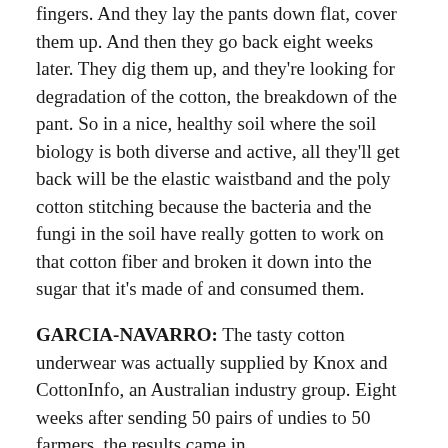fingers. And they lay the pants down flat, cover them up. And then they go back eight weeks later. They dig them up, and they're looking for degradation of the cotton, the breakdown of the pant. So in a nice, healthy soil where the soil biology is both diverse and active, all they'll get back will be the elastic waistband and the poly cotton stitching because the bacteria and the fungi in the soil have really gotten to work on that cotton fiber and broken it down into the sugar that it's made of and consumed them.
GARCIA-NAVARRO: The tasty cotton underwear was actually supplied by Knox and CottonInfo, an Australian industry group. Eight weeks after sending 50 pairs of undies to 50 farmers, the results came in.
KNOX: Fifty of these little Ziploc bags came back with soiled underpants, and it became a real competition between